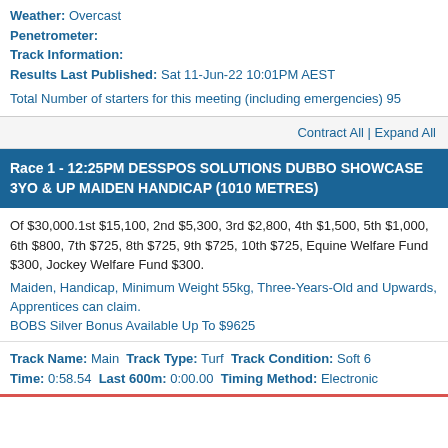Weather: Overcast
Penetrometer:
Track Information:
Results Last Published: Sat 11-Jun-22 10:01PM AEST
Total Number of starters for this meeting (including emergencies) 95
Contract All | Expand All
Race 1 - 12:25PM DESSPOS SOLUTIONS DUBBO SHOWCASE 3YO & UP MAIDEN HANDICAP (1010 METRES)
Of $30,000.1st $15,100, 2nd $5,300, 3rd $2,800, 4th $1,500, 5th $1,000, 6th $800, 7th $725, 8th $725, 9th $725, 10th $725, Equine Welfare Fund $300, Jockey Welfare Fund $300.
Maiden, Handicap, Minimum Weight 55kg, Three-Years-Old and Upwards, Apprentices can claim.
BOBS Silver Bonus Available Up To $9625
Track Name: Main Track Type: Turf Track Condition: Soft 6
Time: 0:58.54 Last 600m: 0:00.00 Timing Method: Electronic